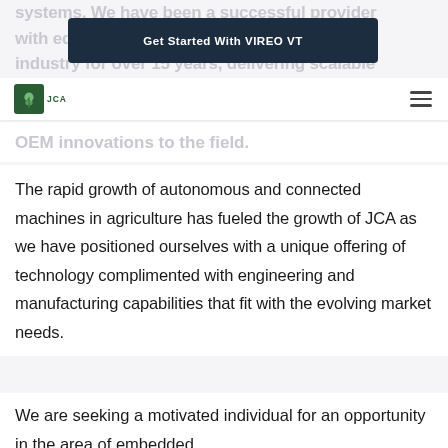systems. We have been a successful provider with equipment... industry for over 15 years, delivering scalable ...anced technology solutions that help bring OEM innovations to the field.
[Figure (other): Call-to-action button reading 'Get Started With VIREO VT' on dark navy background]
JCA logo and hamburger navigation menu
OEM innovations to the field.
The rapid growth of autonomous and connected machines in agriculture has fueled the growth of JCA as we have positioned ourselves with a unique offering of technology complimented with engineering and manufacturing capabilities that fit with the evolving market needs.
We are seeking a motivated individual for an opportunity in the area of embedded